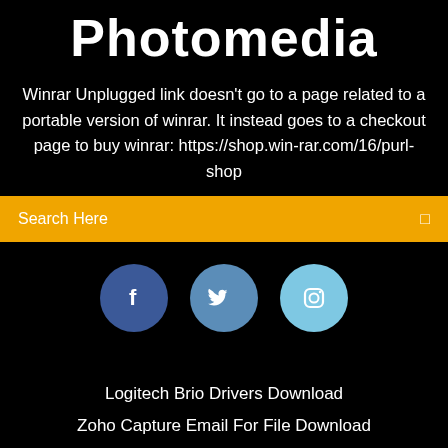Photomedia
Winrar Unplugged link doesn't go to a page related to a portable version of winrar. It instead goes to a checkout page to buy winrar: https://shop.win-rar.com/16/purl-shop
Search Here
[Figure (illustration): Three social media icon circles: Facebook (dark blue), Twitter (medium blue), Instagram (light blue), each containing white icons]
Logitech Brio Drivers Download
Zoho Capture Email For File Download
Download Micromax A67 Flash File
Download Devil May Cry 2 Pc